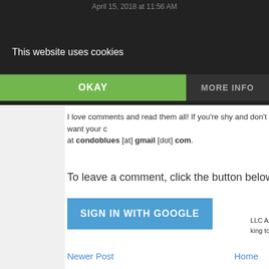April 15, 2018 at 11:56 AM
Post a Comment
This website uses cookies
OKAY
MORE INFO
I love comments and read them all! If you're shy and don't want your c at condoblues [at] gmail [dot] com.
To leave a comment, click the button below to sign i
SIGN IN WITH GOOGLE
Newer Post
Home
View mobile version
[Figure (screenshot): Social sharing grid with Twitter (blue), Facebook (dark blue), Email (gray), WhatsApp (green), SMS (blue), and a share icon (green)]